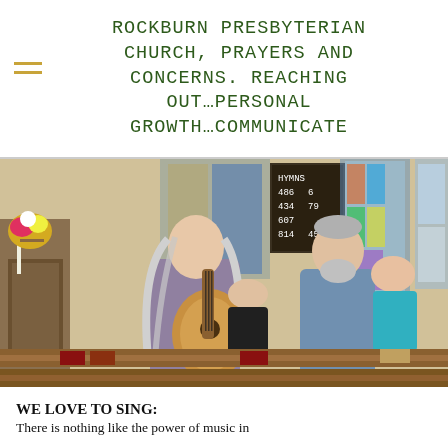ROCKBURN PRESBYTERIAN CHURCH, PRAYERS AND CONCERNS. REACHING OUT...PERSONAL GROWTH...COMMUNICATE
[Figure (photo): Interior of a church with a woman playing acoustic guitar standing at the front. Behind her are stained glass windows and a hymn board. A man with a beard stands nearby, and other congregation members are seated in wooden pews.]
WE LOVE TO SING:
There is nothing like the power of music in